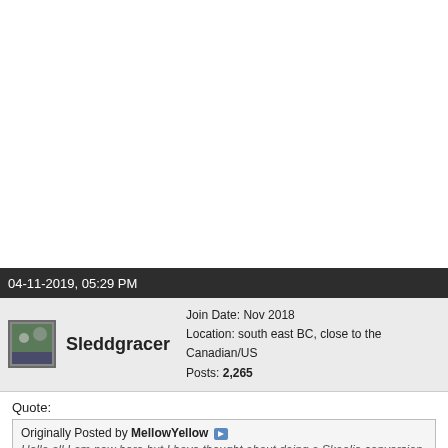04-11-2019, 05:29 PM
Sleddgracer   Join Date: Nov 2018   Location: south east BC, close to the Canadian/US   Posts: 2,265
Quote:
Originally Posted by MellowYellow
Hello all I am new here but I have thought about doing a Skoolie conversion for a while and a bus has been posted for sale that fits my ideal size (24 feet) and fuel type (diesel).